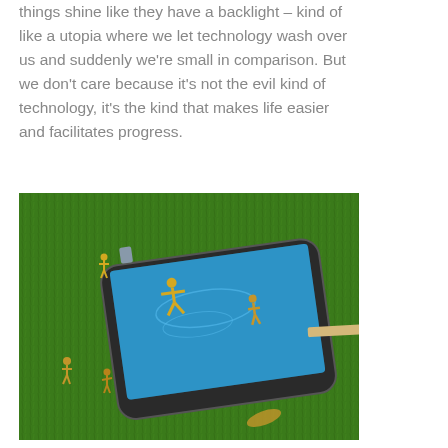things shine like they have a backlight – kind of like a utopia where we let technology wash over us and suddenly we're small in comparison. But we don't care because it's not the evil kind of technology, it's the kind that makes life easier and facilitates progress.
[Figure (photo): A macro/miniature photography scene showing tiny golden figurines around a smartphone lying on green grass. The phone screen displays what appears to be a swimming pool with a diver, and a small diving board extends from the side of the phone. Several miniature human figures are posed around the phone as if enjoying a pool scene.]